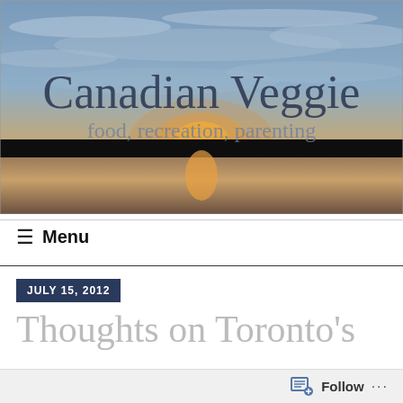[Figure (photo): Sunset over water/lake with dramatic cloudy sky. Blog header image for 'Canadian Veggie' with text overlay: 'Canadian Veggie' and subtitle 'food, recreation, parenting']
≡  Menu
JULY 15, 2012
Thoughts on Toronto's
[Figure (other): Follow button bar at bottom of page with follow icon and '...' more options]